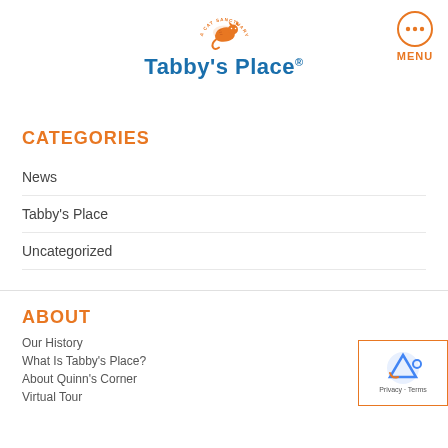[Figure (logo): Tabby's Place cat sanctuary logo with orange cat illustration and blue text reading Tabby's Place]
[Figure (other): Orange circle menu button with three dots and MENU label]
CATEGORIES
News
Tabby's Place
Uncategorized
ABOUT
Our History
What Is Tabby's Place?
About Quinn's Corner
Virtual Tour
[Figure (other): reCAPTCHA badge with Privacy and Terms links]